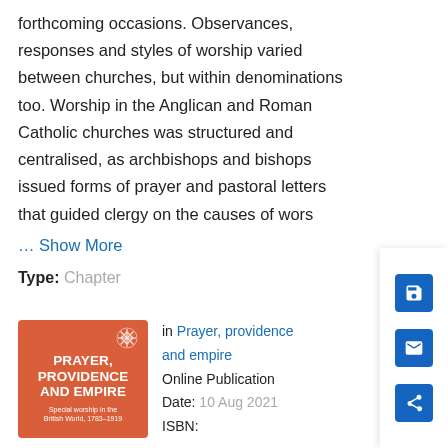forthcoming occasions. Observances, responses and styles of worship varied between churches, but within denominations too. Worship in the Anglican and Roman Catholic churches was structured and centralised, as archbishops and bishops issued forms of prayer and pastoral letters that guided clergy on the causes of wors
... Show More
Type: Chapter
[Figure (illustration): Book cover for 'Prayer, Providence and Empire: Special worship in the British World, 1783-1919' with an orange/red background and white text, with a decorative snowflake symbol in the top right corner.]
in Prayer, providence and empire
Online Publication Date: 10 Aug 2021
ISBN: